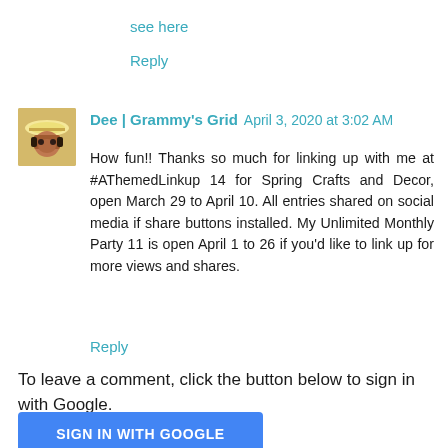see here
Reply
Dee | Grammy's Grid  April 3, 2020 at 3:02 AM
How fun!! Thanks so much for linking up with me at #AThemedLinkup 14 for Spring Crafts and Decor, open March 29 to April 10. All entries shared on social media if share buttons installed. My Unlimited Monthly Party 11 is open April 1 to 26 if you'd like to link up for more views and shares.
Reply
To leave a comment, click the button below to sign in with Google.
SIGN IN WITH GOOGLE